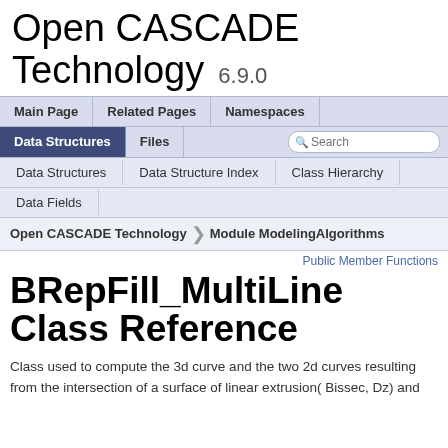Open CASCADE Technology  6.9.0
Main Page | Related Pages | Namespaces | Data Structures | Files | Search
Data Structures | Data Structure Index | Class Hierarchy | Data Fields
Open CASCADE Technology > Module ModelingAlgorithms
Public Member Functions
BRepFill_MultiLine Class Reference
Class used to compute the 3d curve and the two 2d curves resulting from the intersection of a surface of linear extrusion( Bissec, Dz) and